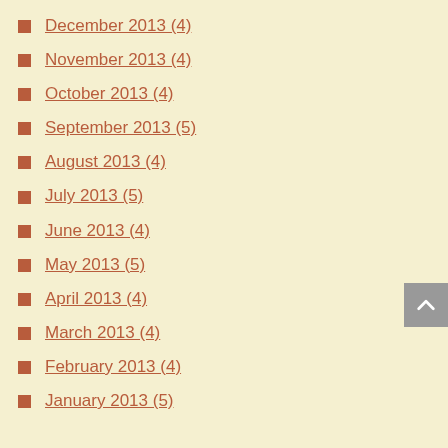December 2013 (4)
November 2013 (4)
October 2013 (4)
September 2013 (5)
August 2013 (4)
July 2013 (5)
June 2013 (4)
May 2013 (5)
April 2013 (4)
March 2013 (4)
February 2013 (4)
January 2013 (5)